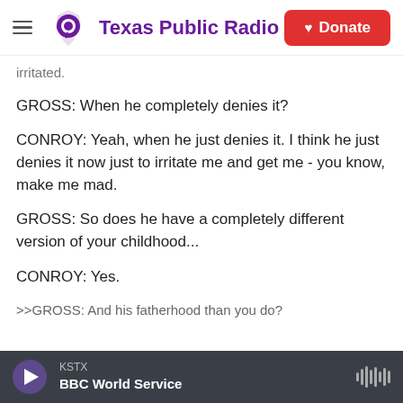Texas Public Radio | Donate
irritated.
GROSS: When he completely denies it?
CONROY: Yeah, when he just denies it. I think he just denies it now just to irritate me and get me - you know, make me mad.
GROSS: So does he have a completely different version of your childhood...
CONROY: Yes.
>>GROSS: And his fatherhood than you do?
KSTX | BBC World Service